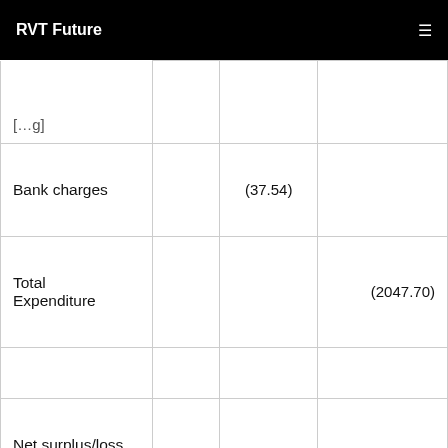RVT Future
|  |  |  |  |
| --- | --- | --- | --- |
| [partial row - label cut off] |  |  |  |
| Bank charges |  | (37.54) |  |
| Total Expenditure |  |  | (2047.70) |
|  |  |  |  |
| Net surplus/loss for this period |  |  | (2047.70) |
| Balance brought into this period from previous |  |  | 28,487.80 |